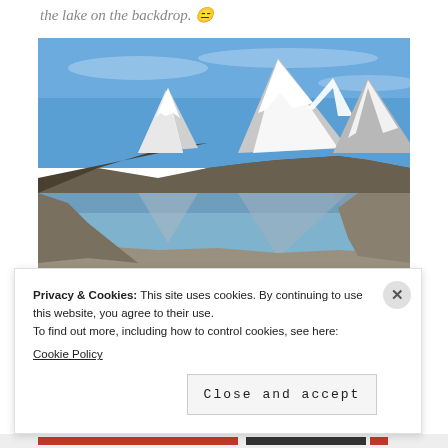the lake on the backdrop. 😑
[Figure (photo): Mountain lake landscape with snow-capped peaks reflected in still water under a blue sky. Rocky terrain on both sides.]
Privacy & Cookies: This site uses cookies. By continuing to use this website, you agree to their use.
To find out more, including how to control cookies, see here:
Cookie Policy

Close and accept